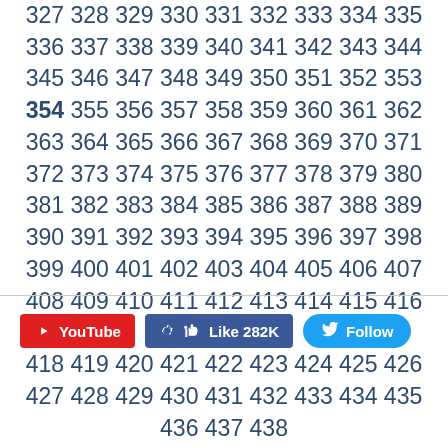327 328 329 330 331 332 333 334 335 336 337 338 339 340 341 342 343 344 345 346 347 348 349 350 351 352 353 354 355 356 357 358 359 360 361 362 363 364 365 366 367 368 369 370 371 372 373 374 375 376 377 378 379 380 381 382 383 384 385 386 387 388 389 390 391 392 393 394 395 396 397 398 399 400 401 402 403 404 405 406 407 408 409 410 411 412 413 414 415 416 417 418 419 420 421 422 423 424 425 426 427 428 429 430 431 432 433 434 435 436 437 438
[Figure (other): Social media buttons: YouTube, Facebook Like (282K), Twitter Follow]